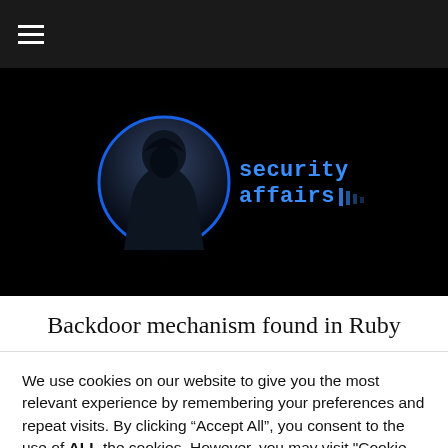≡
[Figure (logo): Security Affairs logo: hooded figure in a blue glowing circle with 'security affairs' text in blue techno font on black background]
Backdoor mechanism found in Ruby
We use cookies on our website to give you the most relevant experience by remembering your preferences and repeat visits. By clicking "Accept All", you consent to the use of ALL the cookies. However, you may visit "Cookie Settings" to provide a controlled consent.
Cookie Settings | Accept All